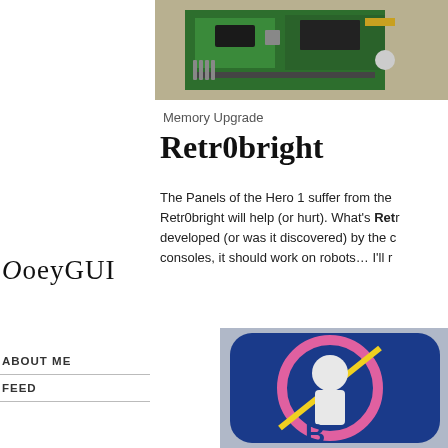[Figure (photo): Close-up photo of a green circuit board with chips and components]
Memory Upgrade
Retr0bright
The Panels of the Hero 1 suffer from the same yellowing that Retr0bright will help (or hurt). What's Retr0bright? It was developed (or was it discovered) by the community... consoles, it should work on robots... I'll r...
OoeyGUI
ABOUT ME
FEED
[Figure (photo): Sticker or badge with a robot/science logo on blue rounded square background with pink and yellow design]